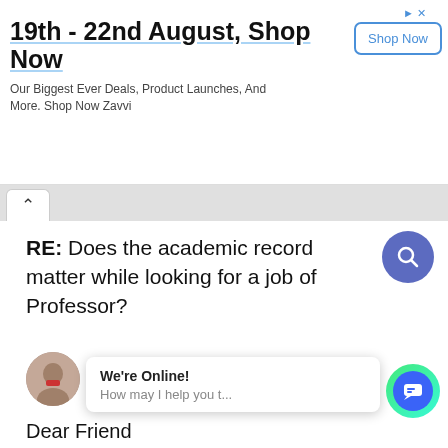[Figure (screenshot): Advertisement banner: '19th - 22nd August, Shop Now' with 'Shop Now' button and description text]
RE: Does the academic record matter while looking for a job of Professor?
manojjnu Kumar
Dear Friend
Academic record is an essential input for any type where the jo h
[Figure (screenshot): Chat widget popup: 'We're Online! How may I help you t...' with green/blue chat button]